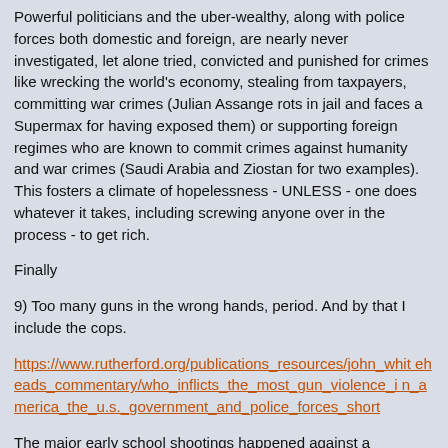Powerful politicians and the uber-wealthy, along with police forces both domestic and foreign, are nearly never investigated, let alone tried, convicted and punished for crimes like wrecking the world's economy, stealing from taxpayers, committing war crimes (Julian Assange rots in jail and faces a Supermax for having exposed them) or supporting foreign regimes who are known to commit crimes against humanity and war crimes (Saudi Arabia and Ziostan for two examples). This fosters a climate of hopelessness - UNLESS - one does whatever it takes, including screwing anyone over in the process - to get rich.
Finally
9) Too many guns in the wrong hands, period. And by that I include the cops.
https://www.rutherford.org/publications_resources/john_whiteheads_commentary/who_inflicts_the_most_gun_violence_in_america_the_u.s._government_and_police_forces_short
The major early school shootings happened against a backdrop where the culture wars were nowhere near the same as today, so I'm not buying the LGBTQWXYZ/Woke stuff as having much to do with school and other mass shooters. If anything it's the other way around, i.e., the El Paso, Buffalo, Charleston, Pittsburgh and other shootings have been perpetrated by white kids for specific grievances including racist beliefs. You might say well this happens